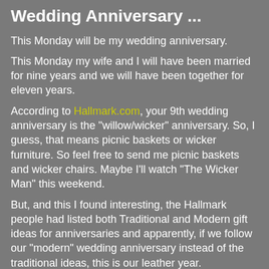Wedding Anniversary ...
This Monday will be my wedding anniversary.
This Monday my wife and I will have been married for nine years and we will have been together for eleven years.
According to Hallmark.com, your 9th wedding anniversary is the "willow/wicker" anniversary. So, I guess, that means picnic baskets or wicker furniture. So feel free to send me picnic baskets and wicker chairs. Maybe I'll watch "The Wicker Man" this weekend.
But, and this I found interesting, the Hallmark people had listed both Traditional and Modern gift ideas for anniversaries and apparently, if we follow our "modern" wedding anniversary instead of the traditional ideas, this is our leather year.
Kinky, right?
I don't know what we'll be doing, if anything. My wife and I